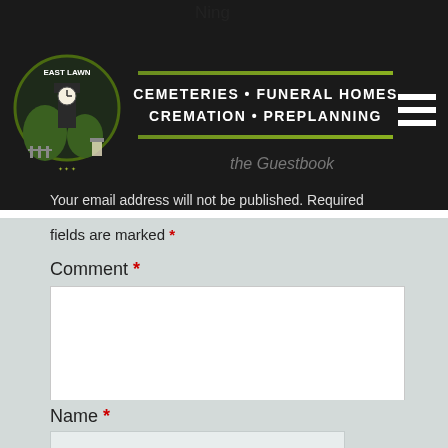Ning
[Figure (logo): East Lawn logo with cemetery imagery — circular badge with clock tower and trees on dark background]
CEMETERIES • FUNERAL HOMES
CREMATION • PREPLANNING
the Guestbook
Your email address will not be published. Required fields are marked *
Comment *
Name *